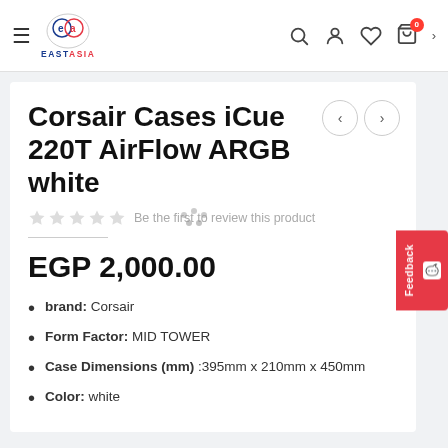East Asia — navigation header with logo, search, account, wishlist, cart icons
Corsair Cases iCue 220T AirFlow ARGB white
Be the first to review this product
EGP 2,000.00
brand: Corsair
Form Factor: MID TOWER
Case Dimensions (mm): 395mm x 210mm x 450mm
Color: white